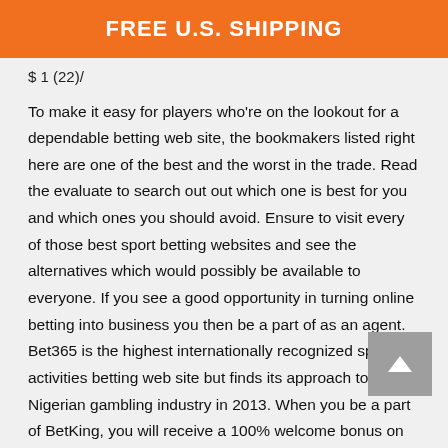FREE U.S. SHIPPING
$ 1 (22)/
To make it easy for players who're on the lookout for a dependable betting web site, the bookmakers listed right here are one of the best and the worst in the trade. Read the evaluate to search out out which one is best for you and which ones you should avoid. Ensure to visit every of those best sport betting websites and see the alternatives which would possibly be available to everyone. If you see a good opportunity in turning online betting into business you then be a part of as an agent. Bet365 is the highest internationally recognized sports activities betting web site but finds its approach to the Nigerian gambling industry in 2013. When you be a part of BetKing, you will receive a 100% welcome bonus on your first deposit and as much as 250% bonuses on every bet you place on their platform.
Yes, some Nigerian cellular apps enable gamers to redeem